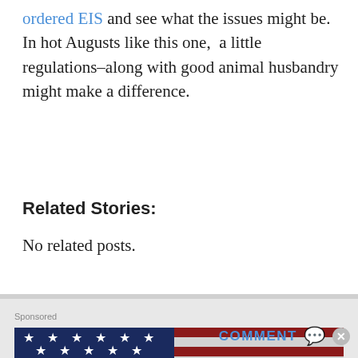ordered EIS and see what the issues might be. In hot Augusts like this one,  a little regulations–along with good animal husbandry might make a difference.
Related Stories:
No related posts.
[Figure (photo): Sponsored advertisement image showing an American flag with stars and leather items, partially cut off at the bottom]
COMMENT 💬 ✕